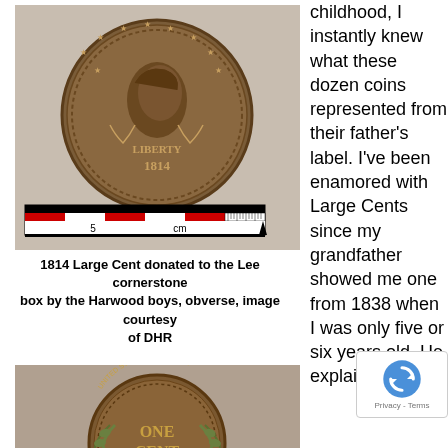[Figure (photo): 1814 Large Cent coin obverse, with measurement scale below, showing a classical head design and the date 1814]
1814 Large Cent donated to the Lee cornerstone box by the Harwood boys, obverse, image courtesy of DHR
childhood, I instantly knew what these dozen coins represented from their father's label. I've been enamored with Large Cents since my grandfather showed me one from 1838 when I was only five or six years old. He explained the ancient coin in my hand, huge w... of the ... "penny," and I
[Figure (photo): Large Cent coin reverse showing ONE CENT inscription with wreath design]